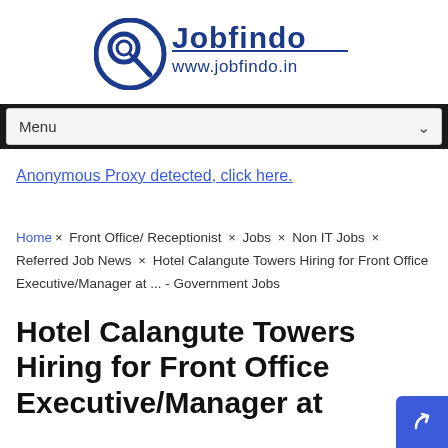[Figure (logo): Jobfindo logo with magnifying glass icon and text 'Jobfindo www.jobfindo.in' in blue]
Menu
Anonymous Proxy detected, click here.
Home × Front Office/ Receptionist × Jobs × Non IT Jobs × Referred Job News × Hotel Calangute Towers Hiring for Front Office Executive/Manager at ... - Government Jobs
Hotel Calangute Towers Hiring for Front Office Executive/Manager at